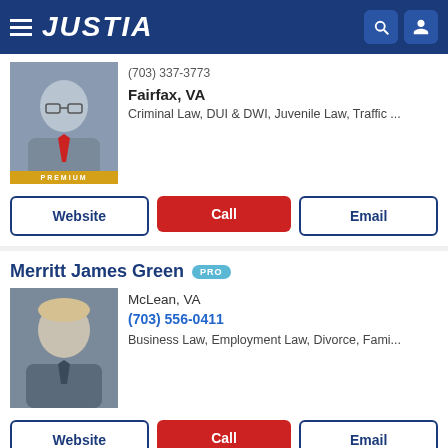JUSTIA
(703) 337-3773
Fairfax, VA
Criminal Law, DUI & DWI, Juvenile Law, Traffic ...
Website | Call | Email
Merritt James Green PRO
McLean, VA
(703) 556-0411
Business Law, Employment Law, Divorce, Fami...
Website | Call | Email